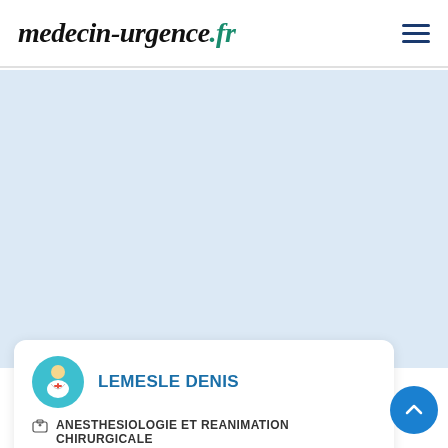medecin-urgence.fr
[Figure (screenshot): Light blue rectangular area representing a map or advertisement placeholder]
LEMESLE DENIS
ANESTHESIOLOGIE ET REANIMATION CHIRURGICALE
11 AVENUE RENE LAENNEC 72000 LE